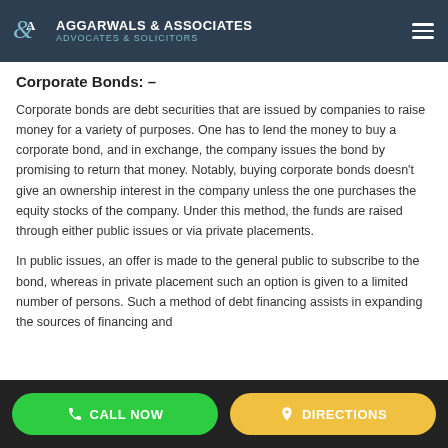AGGARWALS & ASSOCIATES ADVOCATES & SOLICITORS
Corporate Bonds: –
Corporate bonds are debt securities that are issued by companies to raise money for a variety of purposes. One has to lend the money to buy a corporate bond, and in exchange, the company issues the bond by promising to return that money. Notably, buying corporate bonds doesn't give an ownership interest in the company unless the one purchases the equity stocks of the company. Under this method, the funds are raised through either public issues or via private placements.
In public issues, an offer is made to the general public to subscribe to the bond, whereas in private placement such an option is given to a limited number of persons. Such a method of debt financing assists in expanding the sources of financing and
CALL NOW   DIRECTIONS